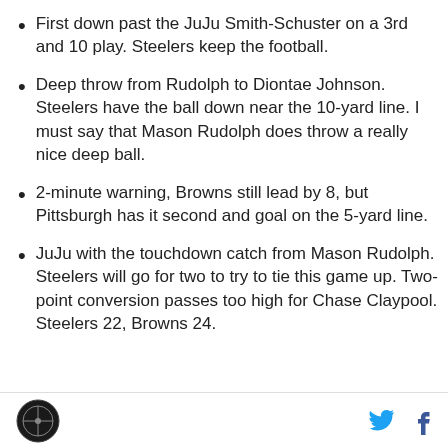First down past the JuJu Smith-Schuster on a 3rd and 10 play. Steelers keep the football.
Deep throw from Rudolph to Diontae Johnson. Steelers have the ball down near the 10-yard line. I must say that Mason Rudolph does throw a really nice deep ball.
2-minute warning, Browns still lead by 8, but Pittsburgh has it second and goal on the 5-yard line.
JuJu with the touchdown catch from Mason Rudolph. Steelers will go for two to try to tie this game up. Two-point conversion passes too high for Chase Claypool. Steelers 22, Browns 24.
Logo | Twitter | Facebook